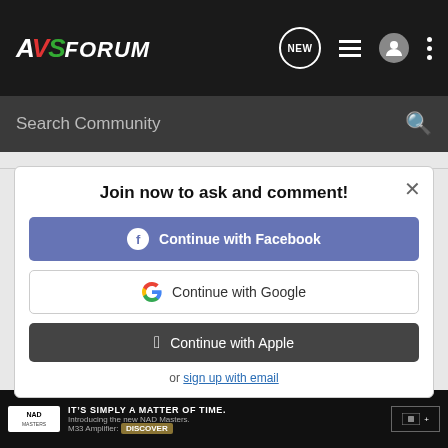AVSForum
Search Community
MY OUTDOOR-MOVIE-NIGHTS ADVENTURES
Join now to ask and comment!
Continue with Facebook
Continue with Google
Continue with Apple
or sign up with email
Reply  Quote
wired1 · Registered
Joined Jul 28, 2005 · 1,152 Posts
#6 · Jan 18, 2007
“Let's say I was in the mood for HD DVD and a doughnut, would th
NAD - IT'S SIMPLY A MATTER OF TIME. Introducing the new NAD Masters. M33 Amplifier: DISCOVER